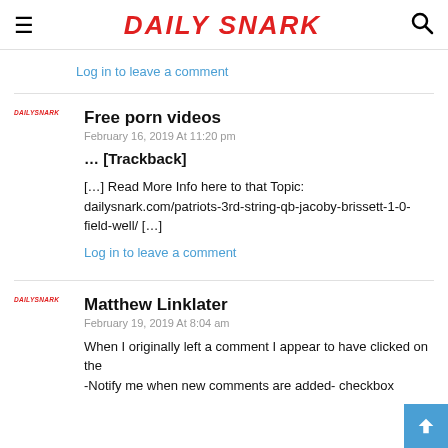DAILY SNARK
Log in to leave a comment
Free porn videos
February 16, 2019 At 11:20 pm
… [Trackback]
[…] Read More Info here to that Topic: dailysnark.com/patriots-3rd-string-qb-jacoby-brissett-1-0-field-well/ […]
Log in to leave a comment
Matthew Linklater
February 19, 2019 At 8:04 am
When I originally left a comment I appear to have clicked on the
-Notify me when new comments are added- checkbox